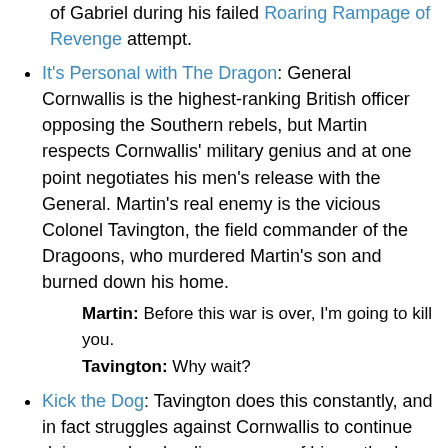of Gabriel during his failed Roaring Rampage of Revenge attempt.
It's Personal with The Dragon: General Cornwallis is the highest-ranking British officer opposing the Southern rebels, but Martin respects Cornwallis' military genius and at one point negotiates his men's release with the General. Martin's real enemy is the vicious Colonel Tavington, the field commander of the Dragoons, who murdered Martin's son and burned down his home.
Martin: Before this war is over, I'm going to kill you.
Tavington: Why wait?
Kick the Dog: Tavington does this constantly, and in fact struggles against Cornwallis to continue doing so when he disapproves of his methods.
Knight of Cerebus: When Tavington and his dragoons show up, you just know things are about to get ugly.
Leave No Survivors: In his opening scene, Colonel Tavington has wounded Colonial soldiers gunned down